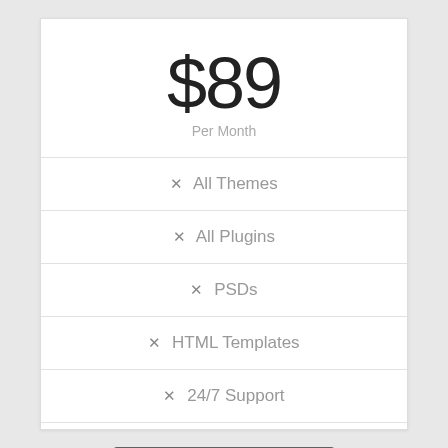$89
Per Month
✕ All Themes
✕ All Plugins
✕ PSDs
✕ HTML Templates
✕ 24/7 Support
Sign Up Today!